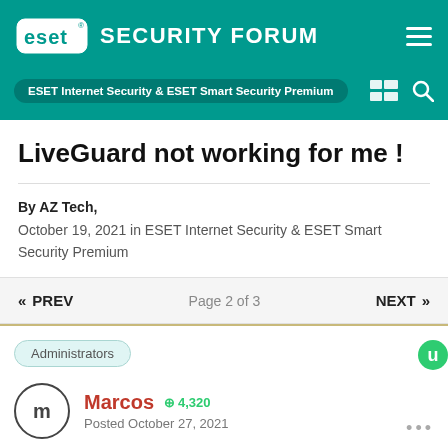ESET SECURITY FORUM
ESET Internet Security & ESET Smart Security Premium
LiveGuard not working for me !
By AZ Tech,
October 19, 2021 in ESET Internet Security & ESET Smart Security Premium
« PREV    Page 2 of 3    NEXT »
Administrators
Marcos  ⊕ 4,320
Posted October 27, 2021